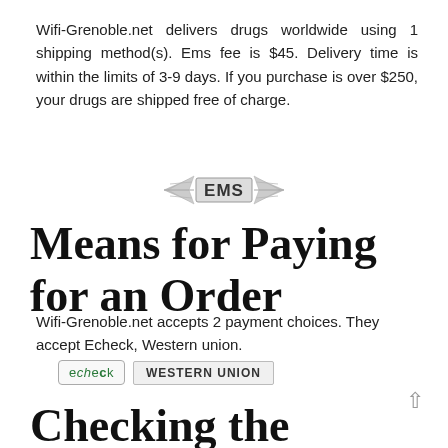Wifi-Grenoble.net delivers drugs worldwide using 1 shipping method(s). Ems fee is $45. Delivery time is within the limits of 3-9 days. If you purchase is over $250, your drugs are shipped free of charge.
[Figure (logo): EMS shipping logo with wings]
Means for Paying for an Order
Wifi-Grenoble.net accepts 2 payment choices. They accept Echeck, Western union.
[Figure (logo): Echeck and Western Union payment logos]
Checking the Website's